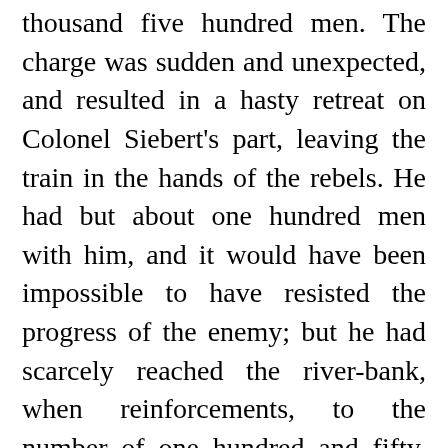thousand five hundred men. The charge was sudden and unexpected, and resulted in a hasty retreat on Colonel Siebert's part, leaving the train in the hands of the rebels. He had but about one hundred men with him, and it would have been impossible to have resisted the progress of the enemy; but he had scarcely reached the river-bank, when reinforcements, to the number of one hundred and fifty, crossed to his aid, when a counter-charge was made, resulting in the recapture of the wagons, mules, and horses, which had not been injured, so brief was the possession of the prize.